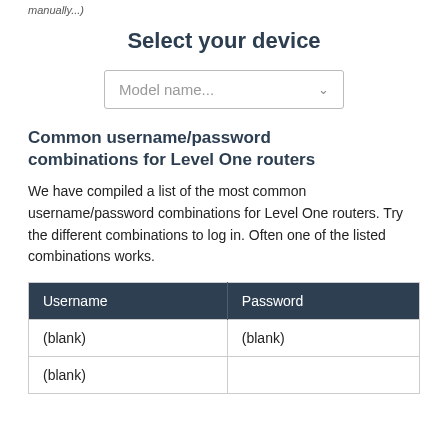manually...
Select your device
[Figure (screenshot): A dropdown input field with placeholder text 'Model name...' and a chevron arrow on the right]
Common username/password combinations for Level One routers
We have compiled a list of the most common username/password combinations for Level One routers. Try the different combinations to log in. Often one of the listed combinations works.
| Username | Password |
| --- | --- |
| (blank) | (blank) |
| (blank) | ... |